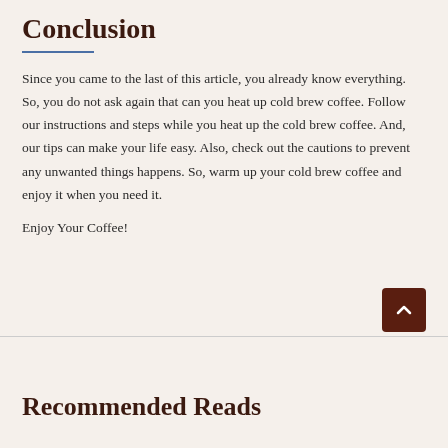Conclusion
Since you came to the last of this article, you already know everything. So, you do not ask again that can you heat up cold brew coffee. Follow our instructions and steps while you heat up the cold brew coffee. And, our tips can make your life easy. Also, check out the cautions to prevent any unwanted things happens. So, warm up your cold brew coffee and enjoy it when you need it.
Enjoy Your Coffee!
Recommended Reads